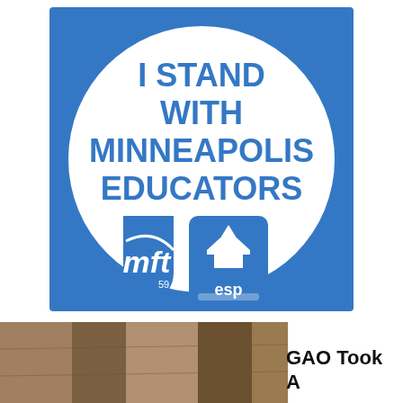[Figure (logo): Blue square badge/button with white circle. Inside the circle, bold blue text reads 'I STAND WITH MINNEAPOLIS EDUCATORS'. Below the text are two logos: an MFT (Minneapolis Federation of Teachers, local 59) shield logo on the left, and an ESP house/arrow logo on the right.]
[Figure (photo): Partial photo visible at the bottom left, appears to be an outdoor or crowd scene in warm tones.]
GAO Took A